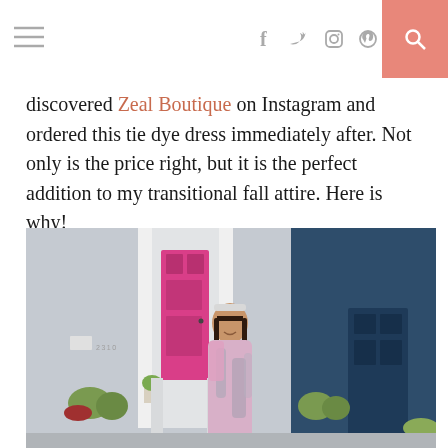≡ [social icons: facebook, twitter, instagram, pinterest] [search]
discovered Zeal Boutique on Instagram and ordered this tie dye dress immediately after. Not only is the price right, but it is the perfect addition to my transitional fall attire. Here is why!
[Figure (photo): A young woman wearing a tie dye pink and grey dress standing in front of a house with a bright pink door (number 2310) and a blue building to the right, with plants and greenery around.]